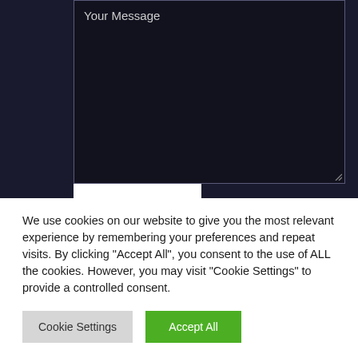[Figure (screenshot): Dark-themed web form textarea with placeholder text 'Your Message' and a white submit button bar partially visible at the bottom]
We use cookies on our website to give you the most relevant experience by remembering your preferences and repeat visits. By clicking "Accept All", you consent to the use of ALL the cookies. However, you may visit "Cookie Settings" to provide a controlled consent.
Cookie Settings
Accept All